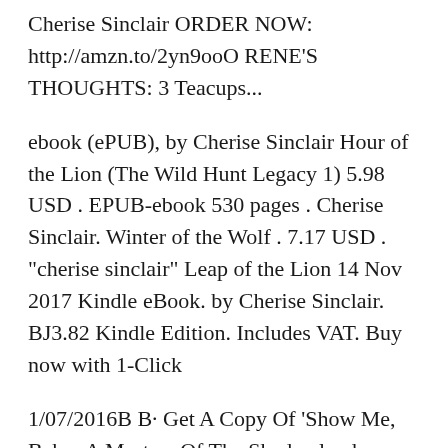Cherise Sinclair ORDER NOW: http://amzn.to/2yn9ooO RENE'S THOUGHTS: 3 Teacups...
ebook (ePUB), by Cherise Sinclair Hour of the Lion (The Wild Hunt Legacy 1) 5.98 USD . EPUB-ebook 530 pages . Cherise Sinclair. Winter of the Wolf . 7.17 USD . "cherise sinclair" Leap of the Lion 14 Nov 2017 Kindle eBook. by Cherise Sinclair. BJ3.82 Kindle Edition. Includes VAT. Buy now with 1-Click
1/07/2016B B· Get A Copy Of 'Show Me, Baby: A Masters Of The Shadowlands Novella' Available Now: https://goo.gl/jxNu1V Authors often say their characters argue with them B©2011 Cherise Sinclair (P)2018 Cherise Sinclair Show